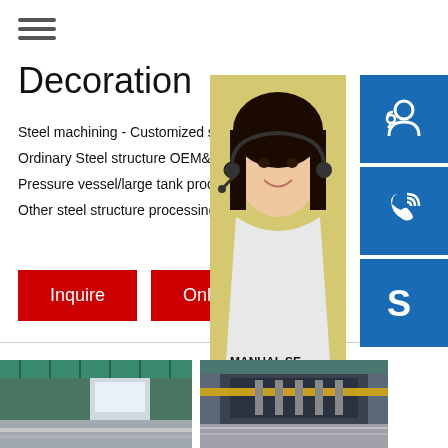[Figure (other): Hamburger menu icon with three horizontal lines]
Decoration
Steel machining - Customized shape and s
Ordinary Steel structure OEM&ODM → Cli
Pressure vessel/large tank processing → C
Other steel structure processing → Click o
[Figure (other): Red Inquire button]
[Figure (other): Red Online service button]
[Figure (photo): Asian female customer service representative with headset, yellow background]
[Figure (other): Blue customer service headset icon button]
[Figure (other): Blue phone/call icon button]
[Figure (other): Blue Skype icon button]
MANUAL SE
QUOTING O
Email: bsteel1@163.com
[Figure (photo): Factory interior showing steel sheets and industrial equipment]
[Figure (photo): Factory with industrial cutting/processing machine for steel plates]